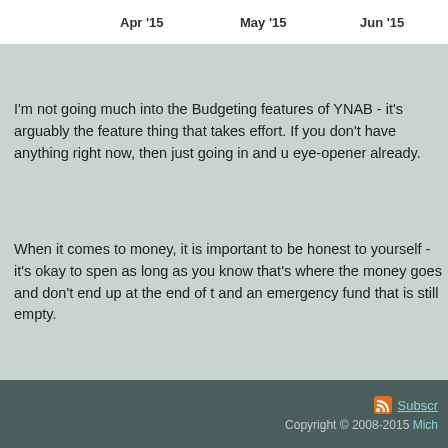[Figure (other): A horizontal timeline/chart bar showing month labels: Apr '15, May '15, Jun '15]
I'm not going much into the Budgeting features of YNAB - it's arguably the feature thing that takes effort. If you don't have anything right now, then just going in and t eye-opener already.
When it comes to money, it is important to be honest to yourself - it's okay to spen as long as you know that's where the money goes and don't end up at the end of t and an emergency fund that is still empty.
June 24th, 2015 in Applications | tags: money
Subscr Copyright © 2008-2015 Mich